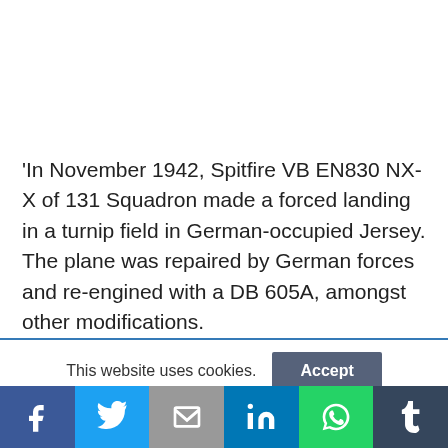‘In November 1942, Spitfire VB EN830 NX-X of 131 Squadron made a forced landing in a turnip field in German-occupied Jersey. The plane was repaired by German forces and re-engined with a DB 605A, amongst other modifications.
This website uses cookies.
Social share bar: Facebook, Twitter, Mail, LinkedIn, WhatsApp, Tumblr